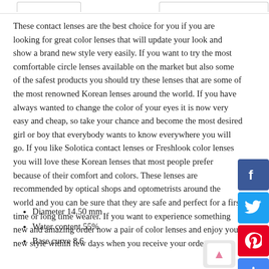These contact lenses are the best choice for you if you are looking for great color lenses that will update your look and show a brand new style very easily. If you want to try the most comfortable circle lenses available on the market but also some of the safest products you should try these lenses that are some of the most renowned Korean lenses around the world. If you have always wanted to change the color of your eyes it is now very easy and cheap, so take your chance and become the most desired girl or boy that everybody wants to know everywhere you will go. If you like Solotica contact lenses or Freshlook color lenses you will love these Korean lenses that most people prefer because of their comfort and colors. These lenses are recommended by optical shops and optometrists around the world and you can be sure that they are safe and perfect for a first time or long time wearer. If you want to experience something new and amazing order now a pair of color lenses and enjoy your new style within few days when you receive your order.
Diameter 14.50 mm
Water content 55%
Base curve 8.6